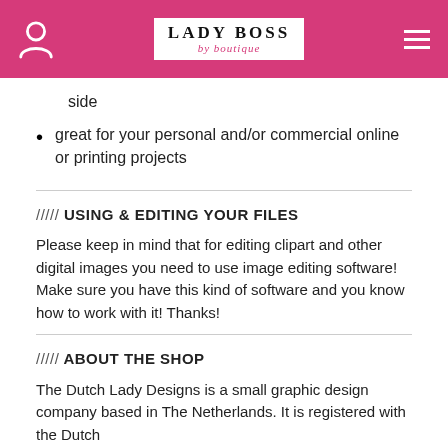LADY BOSS by boutique
side
great for your personal and/or commercial online or printing projects
///// USING & EDITING YOUR FILES
Please keep in mind that for editing clipart and other digital images you need to use image editing software! Make sure you have this kind of software and you know how to work with it! Thanks!
///// ABOUT THE SHOP
The Dutch Lady Designs is a small graphic design company based in The Netherlands. It is registered with the Dutch...